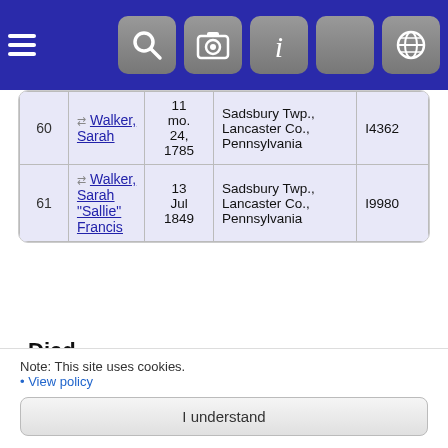[Figure (screenshot): Mobile app navigation bar with hamburger menu icon and 5 icon buttons (search, camera, info, settings, globe) on dark blue background]
|  | Last Name, Given Name(s) | Date | Place | Person ID |
| --- | --- | --- | --- | --- |
| 60 | Walker, Sarah | 11 mo. 24, 1785 | Sadsbury Twp., Lancaster Co., Pennsylvania | I4362 |
| 61 | Walker, Sarah "Sallie" Francis | 13 Jul 1849 | Sadsbury Twp., Lancaster Co., Pennsylvania | I9980 |
Died
Matches 1 to 18 of 18
|  | Last Name, Given Name(s) | Died | Person ID |
| --- | --- | --- | --- |
|  |  | Sadsbury |  |
Note: This site uses cookies.
• View policy
I understand